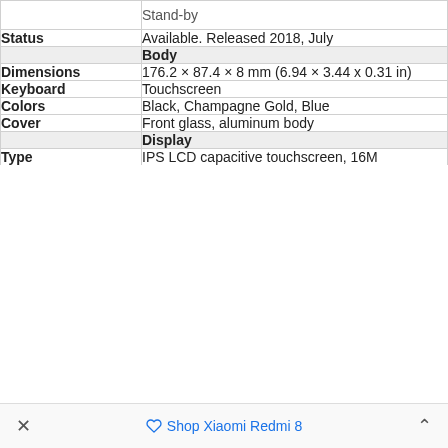| Attribute | Value |
| --- | --- |
|  | Stand-by |
| Status | Available. Released 2018, July |
|  | Body |
| Dimensions | 176.2 × 87.4 × 8 mm (6.94 × 3.44 x 0.31 in) |
| Keyboard | Touchscreen |
| Colors | Black, Champagne Gold, Blue |
| Cover | Front glass, aluminum body |
|  | Display |
| Type | IPS LCD capacitive touchscreen, 16M |
Shop Xiaomi Redmi 8